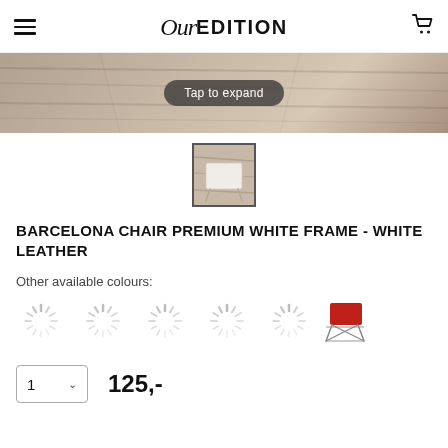OurEDITION
[Figure (photo): Product image area with wood texture background and 'Tap to expand' overlay button]
[Figure (photo): Thumbnail of Barcelona Chair Premium White Frame - White Leather on wood background]
BARCELONA CHAIR PREMIUM WHITE FRAME - WHITE LEATHER
Other available colours:
[Figure (other): Loading spinner icons showing available colour variants, with one red leather Barcelona chair thumbnail visible]
1  125,-